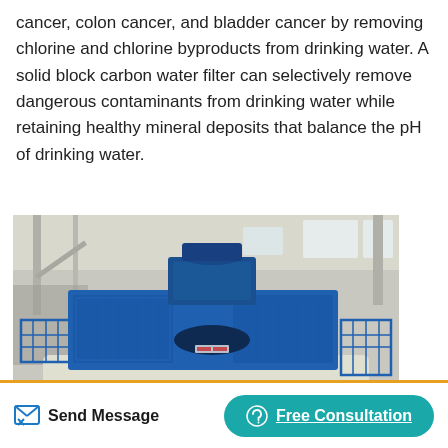cancer, colon cancer, and bladder cancer by removing chlorine and chlorine byproducts from drinking water. A solid block carbon water filter can selectively remove dangerous contaminants from drinking water while retaining healthy mineral deposits that balance the pH of drinking water.
[Figure (photo): Large industrial blue machine (likely a sand-making or crushing machine) on a raised white platform with blue metal railings, inside a large factory/warehouse building. The machine has perforated metal panels and a large motor on top.]
Send Message   Free Consultation